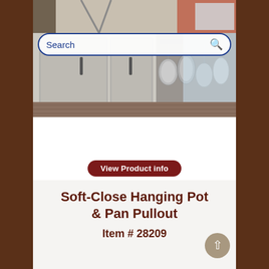[Figure (photo): Kitchen interior with modern gray cabinets and hanging stainless steel pots and pans on a rack, with wood flooring and large windows.]
Search
View Product info
Soft-Close Hanging Pot & Pan Pullout
Item # 28209